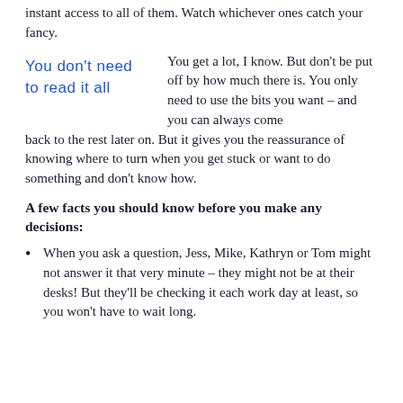instant access to all of them. Watch whichever ones catch your fancy.
[Figure (illustration): Handwritten text in blue ink reading: You don't need to read it all]
You get a lot, I know. But don't be put off by how much there is. You only need to use the bits you want – and you can always come back to the rest later on. But it gives you the reassurance of knowing where to turn when you get stuck or want to do something and don't know how.
A few facts you should know before you make any decisions:
When you ask a question, Jess, Mike, Kathryn or Tom might not answer it that very minute – they might not be at their desks! But they'll be checking it each work day at least, so you won't have to wait long.